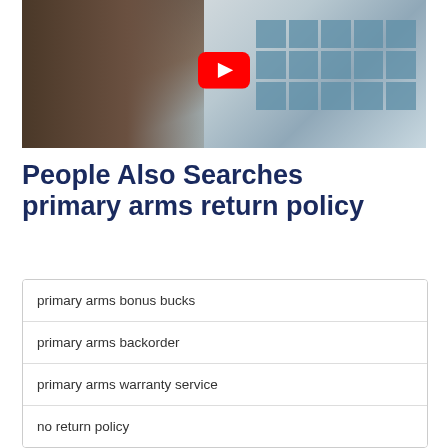[Figure (screenshot): Video thumbnail showing a bearded man on the left side and a commercial building with glass windows on the right, with a YouTube play button overlay in the center.]
People Also Searches primary arms return policy
primary arms bonus bucks
primary arms backorder
primary arms warranty service
no return policy